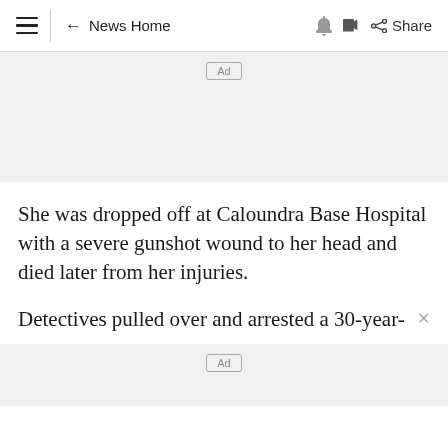≡ ← News Home 🔔 Share
[Figure (other): Advertisement banner placeholder with 'Ad' label]
She was dropped off at Caloundra Base Hospital with a severe gunshot wound to her head and died later from her injuries.
Detectives pulled over and arrested a 30-year-
[Figure (other): Advertisement banner placeholder with 'Ad' label]